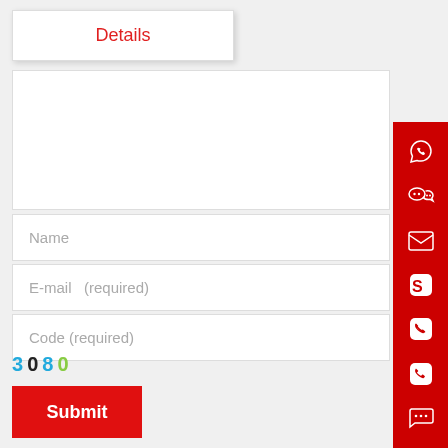Details
Name
E-mail  (required)
Code (required)
3080
Submit
[Figure (infographic): Red vertical sidebar with icons: WhatsApp, WeChat, Email, Skype, Phone, Phone, Chat]